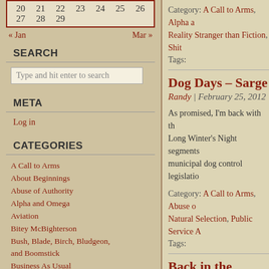[Figure (other): Calendar widget showing dates 20-29, with border]
« Jan   Mar »
SEARCH
Type and hit enter to search
META
Log in
CATEGORIES
A Call to Arms
About Beginnings
Abuse of Authority
Alpha and Omega
Aviation
Bitey McBighterson
Bush, Blade, Birch, Bludgeon, and Boomstick
Business As Usual
Dereliction of Duty
Dogs
Entertainment
Family Matters
Fathercraft
Flight Simulation
Category: A Call to Arms, Alpha a... Reality Stranger than Fiction, Shit...
Tags:
Dog Days – Sarge
Randy | February 25, 2012
As promised, I'm back with th... Long Winter's Night segments... municipal dog control legislatio...
Category: A Call to Arms, Abuse o... Natural Selection, Public Service A...
Tags:
Back in the Saddle Aga...
Randy | February 23, 2012
To quell the panic that's abroa...